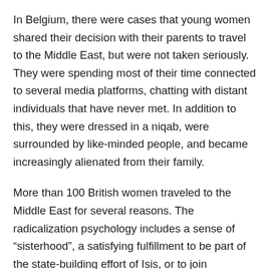In Belgium, there were cases that young women shared their decision with their parents to travel to the Middle East, but were not taken seriously. They were spending most of their time connected to several media platforms, chatting with distant individuals that have never met. In addition to this, they were dressed in a niqab, were surrounded by like-minded people, and became increasingly alienated from their family.
More than 100 British women traveled to the Middle East for several reasons. The radicalization psychology includes a sense of “sisterhood”, a satisfying fulfillment to be part of the state-building effort of Isis, or to join something “bigger and divine”.